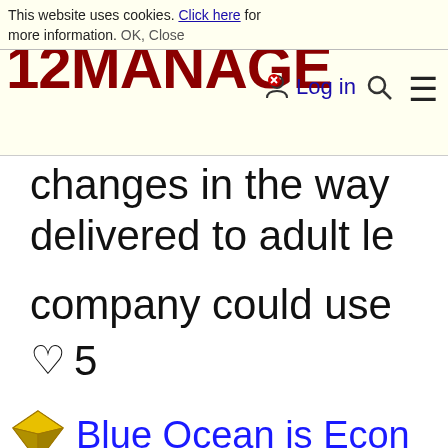This website uses cookies. Click here for more information. OK, Close
[Figure (logo): 12MANAGE logo in dark red bold text with hamburger menu icon]
changes in the way
Log in
delivered to adult le
company could use
♡ 5
Blue Ocean is Econ
In my opinion, the id